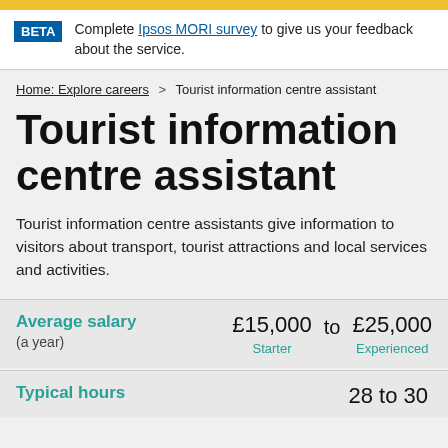BETA  Complete Ipsos MORI survey to give us your feedback about the service.
Home: Explore careers > Tourist information centre assistant
Tourist information centre assistant
Tourist information centre assistants give information to visitors about transport, tourist attractions and local services and activities.
Average salary (a year)  £15,000 to £25,000  Starter  Experienced
Typical hours  28 to 30